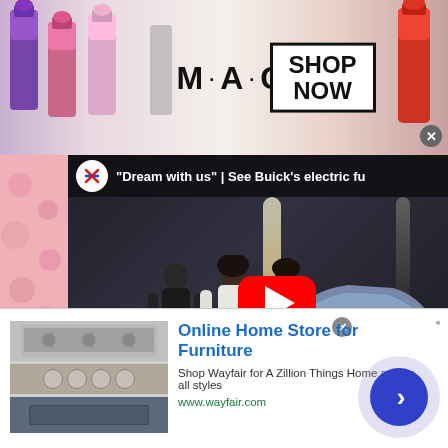[Figure (photo): MAC Cosmetics advertisement banner showing colorful lipsticks on left, MAC logo in center, and SHOP NOW button in a box on the right, with a close X button]
[Figure (screenshot): YouTube video embed showing a Buick electric car advertisement titled 'Dream with us | See Buick's electric fu' with a scene of people near a futuristic silver car in a dark parking area, YouTube red play button centered]
[Figure (photo): Wayfair advertisement banner: Online Home Store for Furniture - Shop Wayfair for A Zillion Things Home across all styles - www.wayfair.com, with appliance images on left and blue circular CTA button on right]